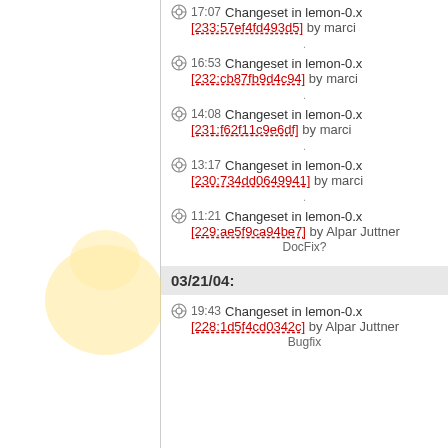17:07 Changeset in lemon-0.x [233:57ef4fd493d5] by marci
16:53 Changeset in lemon-0.x [232:cb87fb9d4c94] by marci
14:08 Changeset in lemon-0.x [231:f62f11c9e6df] by marci
13:17 Changeset in lemon-0.x [230:734dd0649941] by marci
11:21 Changeset in lemon-0.x [229:ae5f9ca94be7] by Alpar Juttner
DocFix?
03/21/04:
19:43 Changeset in lemon-0.x [228:1d5f4cd0342c] by Alpar Juttner
Bugfix